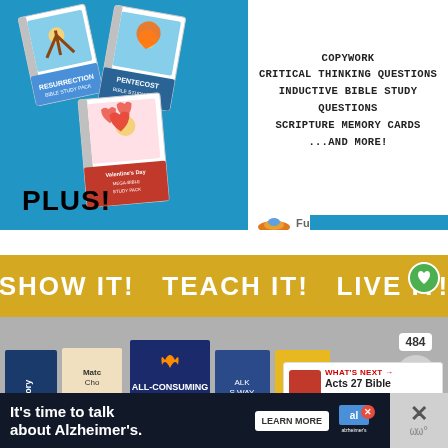[Figure (illustration): Three spiral-bound Bible study pack books (Resurrection, Pentecost, Valentine's Day Mega-Bible Study Pack) displayed on blue background]
COPYWORK
CRITICAL THINKING QUESTIONS
INDUCTIVE BIBLE STUDY QUESTIONS
SCRIPTURE MEMORY CARDS
...AND MORE!
PLUS!
[Figure (logo): FutureFlyingSaucers.com logo with flying saucer icon]
SHOW IT!   TEACH IT!   LIVE IT!
484
[Figure (illustration): Row of Christian educational books including All-Consuming Fire, Victory, Match Cho..., Walk His Way, What He's Doing]
WHAT'S NEXT → Acts 27 Bible Object Less...
It's time to talk about Alzheimer's.
LEARN MORE